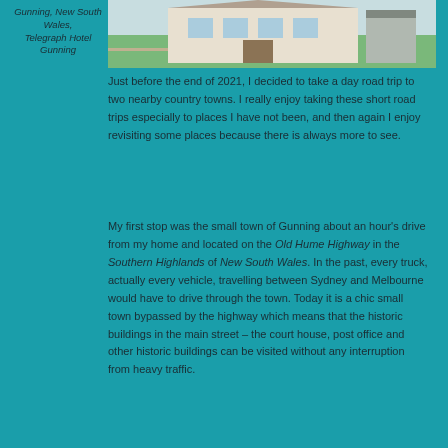[Figure (photo): Photograph of Telegraph Hotel Gunning building exterior with green lawn]
Gunning, New South Wales, Telegraph Hotel Gunning
Just before the end of 2021, I decided to take a day road trip to two nearby country towns. I really enjoy taking these short road trips especially to places I have not been, and then again I enjoy revisiting some places because there is always more to see.
My first stop was the small town of Gunning about an hour's drive from my home and located on the Old Hume Highway in the Southern Highlands of New South Wales. In the past, every truck, actually every vehicle, travelling between Sydney and Melbourne would have to drive through the town. Today it is a chic small town bypassed by the highway which means that the historic buildings in the main street – the court house, post office and other historic buildings can be visited without any interruption from heavy traffic.